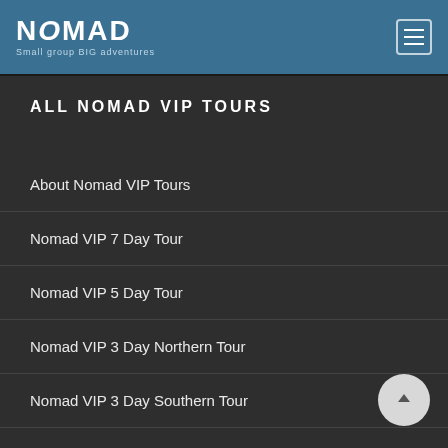[Figure (logo): Nomad logo with text 'NOMAD' and tagline 'Small group BIG adventures' on teal header background]
ALL NOMAD VIP TOURS
About Nomad VIP Tours
Nomad VIP 7 Day Tour
Nomad VIP 5 Day Tour
Nomad VIP 3 Day Northern Tour
Nomad VIP 3 Day Southern Tour